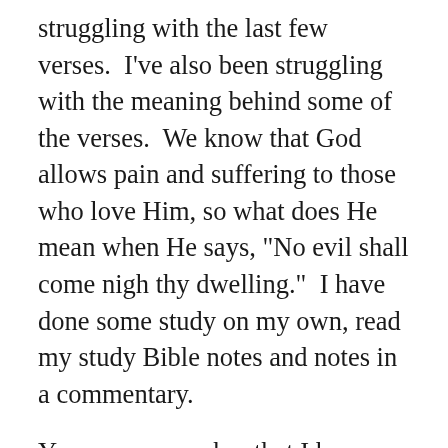struggling with the last few verses.  I've also been struggling with the meaning behind some of the verses.  We know that God allows pain and suffering to those who love Him, so what does He mean when He says, “No evil shall come nigh thy dwelling.”  I have done some study on my own, read my study Bible notes and notes in a commentary.
You may remember that I have been pretty much confined to a chair due to a recent injury.  Today I took the time to go back and read the posts that were written about each week’s memory verses.  I would